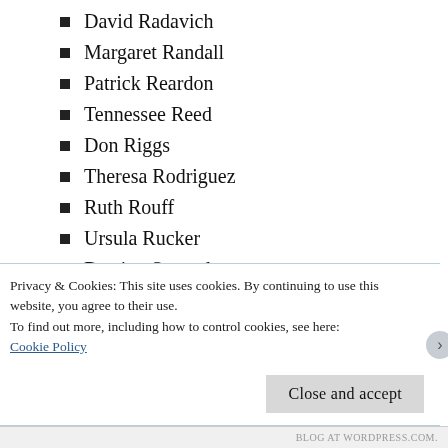David Radavich
Margaret Randall
Patrick Reardon
Tennessee Reed
Don Riggs
Theresa Rodriguez
Ruth Rouff
Ursula Rucker
Destiny Samuel
Sonia Sanchez
Hayden Saunier
George Schaefer
Nina Schafer
Privacy & Cookies: This site uses cookies. By continuing to use this website, you agree to their use. To find out more, including how to control cookies, see here: Cookie Policy
Close and accept
BLOG AT WORDPRESS.COM.